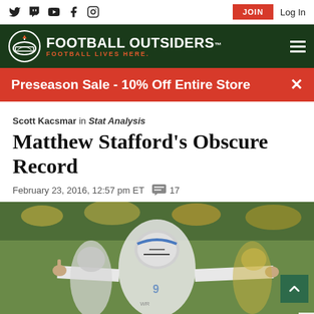Football Outsiders - Football Lives Here.
Preseason Sale - 10% Off Entire Store
Scott Kacsmar in Stat Analysis
Matthew Stafford's Obscure Record
February 23, 2016, 12:57 pm ET   17
[Figure (photo): Matthew Stafford, Detroit Lions quarterback in white uniform and helmet with blue lion logo, arms spread wide in celebration on football field, with other Lions players and Green Bay Packers players visible in background]